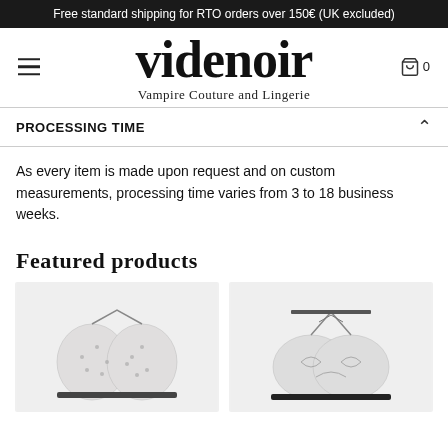Free standard shipping for RTO orders over 150€ (UK excluded)
[Figure (logo): Videnoir gothic-style brand logo with blackletter font text reading 'videnoir' and tagline 'Vampire Couture and Lingerie']
PROCESSING TIME
As every item is made upon request and on custom measurements, processing time varies from 3 to 18 business weeks.
Featured products
[Figure (photo): Two lingerie product photos showing black lace bralettes]
[Figure (photo): Two more lingerie product photos partially visible at the bottom]